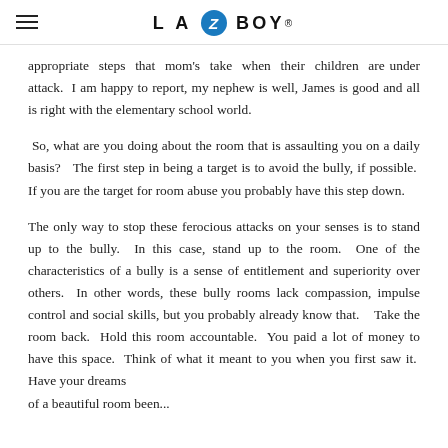LA Z BOY (logo)
appropriate steps that mom's take when their children are under attack.  I am happy to report, my nephew is well, James is good and all is right with the elementary school world.
So, what are you doing about the room that is assaulting you on a daily basis?  The first step in being a target is to avoid the bully, if possible.  If you are the target for room abuse you probably have this step down.
The only way to stop these ferocious attacks on your senses is to stand up to the bully.  In this case, stand up to the room.  One of the characteristics of a bully is a sense of entitlement and superiority over others.  In other words, these bully rooms lack compassion, impulse control and social skills, but you probably already know that.   Take the room back.  Hold this room accountable.  You paid a lot of money to have this space.  Think of what it meant to you when you first saw it.  Have your dreams of a beautiful room been...